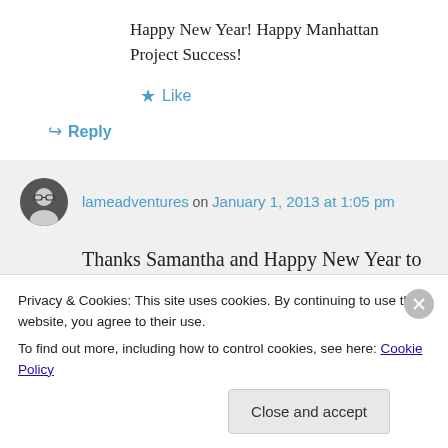Happy New Year! Happy Manhattan Project Success!
★ Like
↪ Reply
lameadventures on January 1, 2013 at 1:05 pm
Thanks Samantha and Happy New Year to you, too!
Privacy & Cookies: This site uses cookies. By continuing to use this website, you agree to their use.
To find out more, including how to control cookies, see here: Cookie Policy